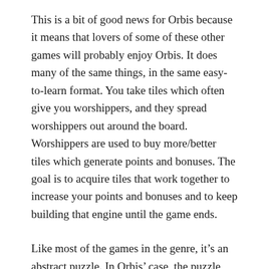This is a bit of good news for Orbis because it means that lovers of some of these other games will probably enjoy Orbis. It does many of the same things, in the same easy-to-learn format. You take tiles which often give you worshippers, and they spread worshippers out around the board. Worshippers are used to buy more/better tiles which generate points and bonuses. The goal is to acquire tiles that work together to increase your points and bonuses and to keep building that engine until the game ends.
Like most of the games in the genre, it’s an abstract puzzle. In Orbis’ case, the puzzle also takes on a spatial dimension because you have to place your tiles in certain ways. It’s not as simple as acquiring and…